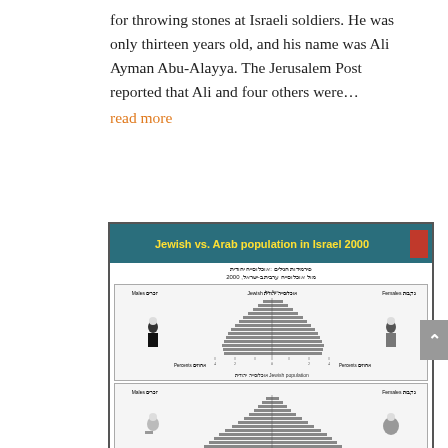for throwing stones at Israeli soldiers. He was only thirteen years old, and his name was Ali Ayman Abu-Alayya. The Jerusalem Post reported that Ali and four others were…
read more
[Figure (infographic): Infographic titled 'Jewish vs. Arab population in Israel 2000' with teal/dark green header and yellow text. Contains two population pyramid charts: upper showing Jewish population with Males on left and Females on right, lower showing Arab population. Hebrew text labels throughout. Each pyramid shows age distribution as horizontal bars. Cartoon figures of people placed on left and right sides of each pyramid. Source text at bottom in Hebrew.]